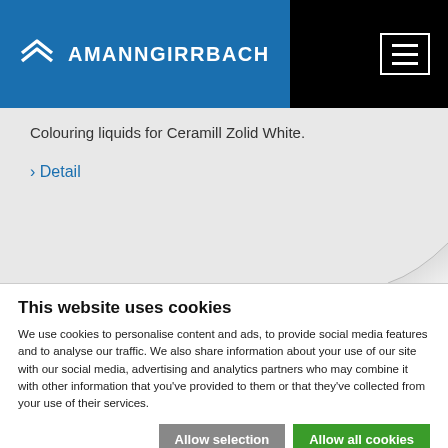AMANNGIRRBACH
Colouring liquids for Ceramill Zolid White.
> Detail
This website uses cookies
We use cookies to personalise content and ads, to provide social media features and to analyse our traffic. We also share information about your use of our site with our social media, advertising and analytics partners who may combine it with other information that you've provided to them or that they've collected from your use of their services.
Allow selection | Allow all cookies
Necessary  Preferences  Statistics  Marketing  Show details